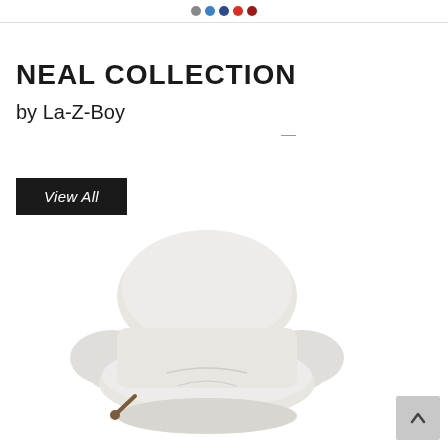[Figure (other): Partial top bar with social sharing color dots (gray, blue, dark blue, red, red-dark)]
NEAL COLLECTION
by La-Z-Boy
View All
[Figure (photo): A cream/white La-Z-Boy recliner chair with rounded arms and a lever on the side, photographed on a white background]
[Figure (other): Scroll-to-top button with upward chevron arrow]